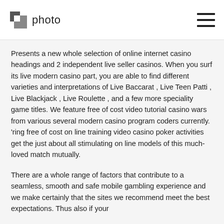photo
Presents a new whole selection of online internet casino headings and 2 independent live seller casinos. When you surf its live modern casino part, you are able to find different varieties and interpretations of Live Baccarat , Live Teen Patti , Live Blackjack , Live Roulette , and a few more speciality game titles. We feature free of cost video tutorial casino wars from various several modern casino program coders currently. 'ring free of cost on line training video casino poker activities get the just about all stimulating on line models of this much-loved match mutually.
There are a whole range of factors that contribute to a seamless, smooth and safe mobile gambling experience and we make certainly that the sites we recommend meet the best expectations. Thus also if your